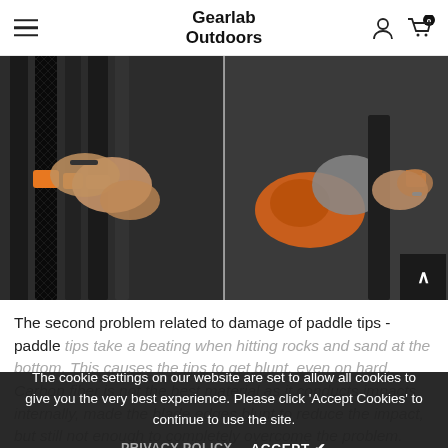Gearlab Outdoors
[Figure (photo): Two side-by-side photos showing hands working with carbon fiber paddle shafts with orange tip components, in a workshop/manufacturing setting.]
The second problem related to damage of paddle tips - paddle tips take a beating when hitting rocks and sand at the bottom. This causes the tips to get blunt, even on hard. Carbon fiber is not the best material as it conducts impacts internally, made the blade edges blunt to reduce the impact, but still not enough to completely overcome the problem.
The cookie settings on our website are set to allow all cookies to give you the very best experience. Please click 'Accept Cookies' to continue to use the site.
PRIVACY POLICY   ACCEPT ✔